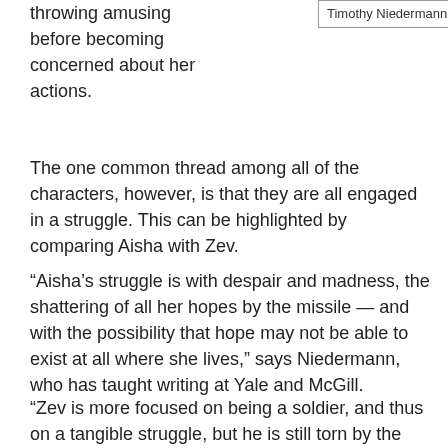throwing amusing before becoming concerned about her actions.
Timothy Niedermann
The one common thread among all of the characters, however, is that they are all engaged in a struggle. This can be highlighted by comparing Aisha with Zev.
“Aisha’s struggle is with despair and madness, the shattering of all her hopes by the missile — and with the possibility that hope may not be able to exist at all where she lives,” says Niedermann, who has taught writing at Yale and McGill.
“Zev is more focused on being a soldier, and thus on a tangible struggle, but he is still torn by the contradictions of being an Israeli… [W]anting to